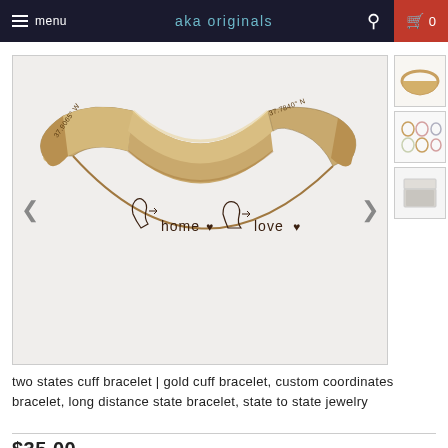menu  aka originals  0
[Figure (photo): Gold cuff bracelet with state outlines and text 'home • [state icon] love •' engraved on the band, with coordinates '37.9065° W' and '37.7840° N' visible on the ends of the cuff.]
[Figure (photo): Thumbnail 1: Close-up of a gold cuff bracelet ring shape]
[Figure (photo): Thumbnail 2: Multiple small state outline charms in gold, silver, rose gold]
[Figure (photo): Thumbnail 3: White gift box with lid]
two states cuff bracelet | gold cuff bracelet, custom coordinates bracelet, long distance state bracelet, state to state jewelry
$35.00